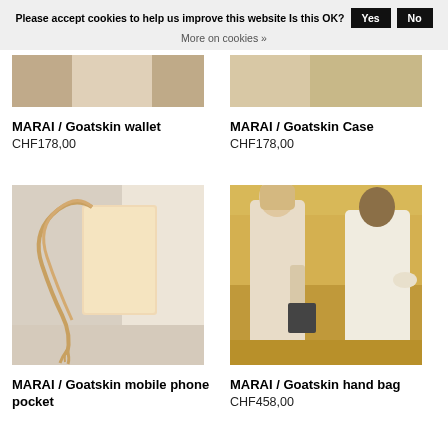Please accept cookies to help us improve this website Is this OK? Yes No More on cookies »
[Figure (photo): Partial top view of a light beige/cream leather wallet product on neutral background]
[Figure (photo): Partial top view of a light beige/cream leather case product on neutral background]
MARAI / Goatskin wallet
CHF178,00
MARAI / Goatskin Case
CHF178,00
[Figure (photo): A tan/natural goatskin leather mobile phone pocket with long leather strap, photographed against a light wall]
[Figure (photo): Two women standing in a golden wheat field wearing light linen dresses, one holding a dark goatskin hand bag]
MARAI / Goatskin mobile phone pocket
MARAI / Goatskin hand bag
CHF458,00